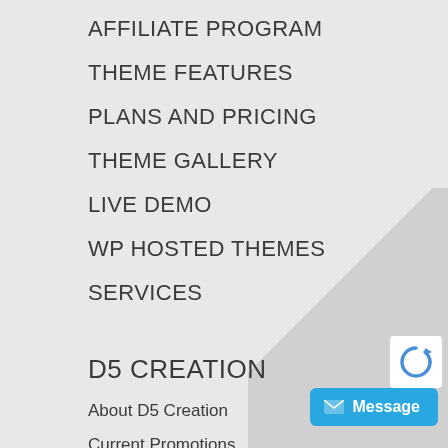AFFILIATE PROGRAM
THEME FEATURES
PLANS AND PRICING
THEME GALLERY
LIVE DEMO
WP HOSTED THEMES
SERVICES
D5 CREATION
About D5 Creation
Current Promotions
Testimonials
Terms of Service
Privacy Policy